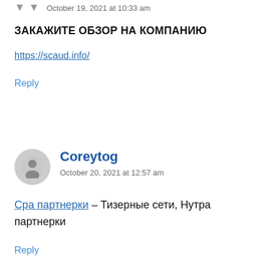October 19, 2021 at 10:33 am
ЗАКАЖИТЕ ОБЗОР НА КОМПАНИЮ
https://scaud.info/
Reply
Coreytog
October 20, 2021 at 12:57 am
Сра партнерки – Тизерные сети, Нутра партнерки
Reply